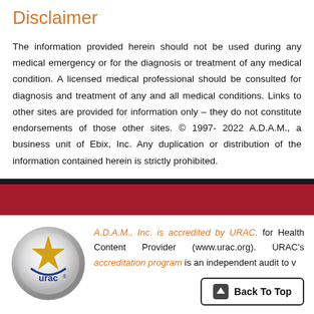Disclaimer
The information provided herein should not be used during any medical emergency or for the diagnosis or treatment of any medical condition. A licensed medical professional should be consulted for diagnosis and treatment of any and all medical conditions. Links to other sites are provided for information only – they do not constitute endorsements of those other sites. © 1997- 2022 A.D.A.M., a business unit of Ebix, Inc. Any duplication or distribution of the information contained herein is strictly prohibited.
[Figure (other): Dark horizontal bar followed by red horizontal banner bar]
[Figure (logo): URAC accreditation logo — circular silver badge with gold star and 'urac' text]
A.D.A.M., Inc. is accredited by URAC, for Health Content Provider (www.urac.org). URAC's accreditation program is an independent audit to v...